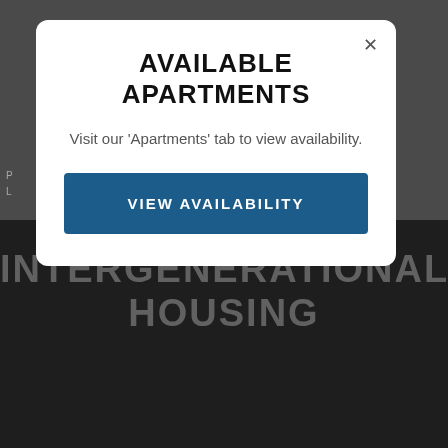AVAILABLE APARTMENTS
Visit our 'Apartments' tab to view availability.
VIEW AVAILABILITY
INTERGENERATIONAL HOUSING